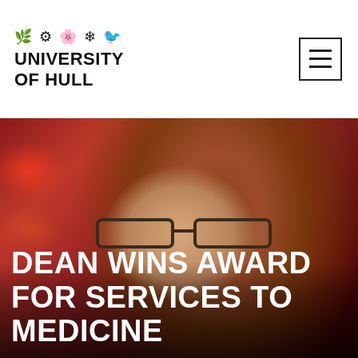[Figure (logo): University of Hull logo with decorative icons above text]
[Figure (photo): Portrait photo of a woman with long reddish-brown hair and dark-framed glasses, smiling slightly, set against a blurred red background with bokeh lights]
DEAN WINS AWARD FOR SERVICES TO MEDICINE